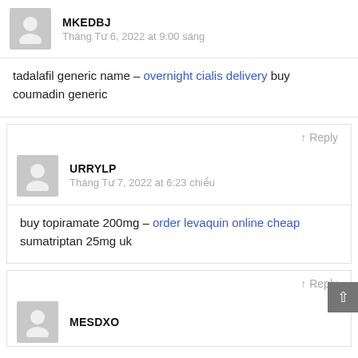MKEDBJ
Tháng Tư 6, 2022 at 9:00 sáng
tadalafil generic name – overnight cialis delivery buy coumadin generic
↑ Reply
URRYLP
Tháng Tư 7, 2022 at 6:23 chiều
buy topiramate 200mg – order levaquin online cheap sumatriptan 25mg uk
↑ Reply
MESDXO